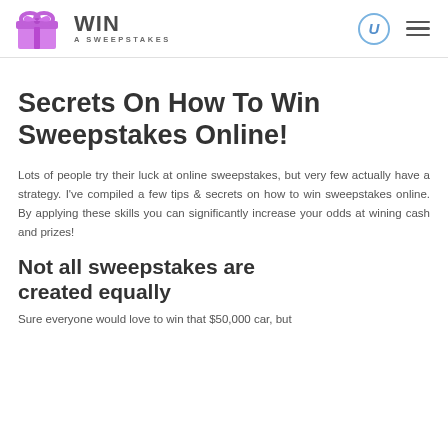WIN A SWEEPSTAKES
Secrets On How To Win Sweepstakes Online!
Lots of people try their luck at online sweepstakes, but very few actually have a strategy. I've compiled a few tips & secrets on how to win sweepstakes online. By applying these skills you can significantly increase your odds at wining cash and prizes!
Not all sweepstakes are created equally
Sure everyone would love to win that $50,000 car, but